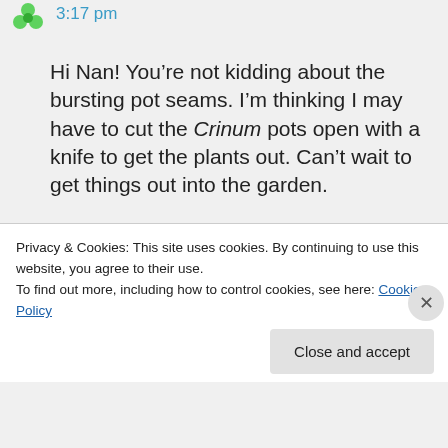3:17 pm
Hi Nan! You’re not kidding about the bursting pot seams. I’m thinking I may have to cut the Crinum pots open with a knife to get the plants out. Can’t wait to get things out into the garden.
Even though I bought everything on my list, you know me well enough to know that there is always a new list in the works! After all, more is nearly always better when it
Privacy & Cookies: This site uses cookies. By continuing to use this website, you agree to their use.
To find out more, including how to control cookies, see here: Cookie Policy
Close and accept